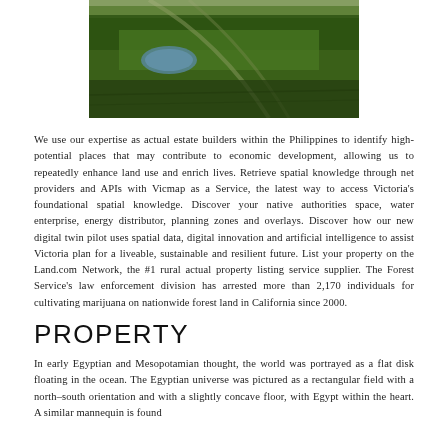[Figure (photo): Aerial photograph of green agricultural or forest land with a small pond/water body visible, taken from above showing rolling terrain.]
We use our expertise as actual estate builders within the Philippines to identify high-potential places that may contribute to economic development, allowing us to repeatedly enhance land use and enrich lives. Retrieve spatial knowledge through net providers and APIs with Vicmap as a Service, the latest way to access Victoria's foundational spatial knowledge. Discover your native authorities space, water enterprise, energy distributor, planning zones and overlays. Discover how our new digital twin pilot uses spatial data, digital innovation and artificial intelligence to assist Victoria plan for a liveable, sustainable and resilient future. List your property on the Land.com Network, the #1 rural actual property listing service supplier. The Forest Service's law enforcement division has arrested more than 2,170 individuals for cultivating marijuana on nationwide forest land in California since 2000.
PROPERTY
In early Egyptian and Mesopotamian thought, the world was portrayed as a flat disk floating in the ocean. The Egyptian universe was pictured as a rectangular field with a north–south orientation and with a slightly concave floor, with Egypt within the heart. A similar mannequin is found